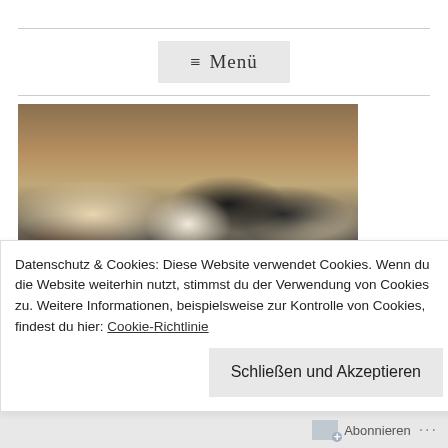≡  Menü
[Figure (photo): People practicing martial arts in a wooden-walled dojo with mat flooring]
Datenschutz & Cookies: Diese Website verwendet Cookies. Wenn du die Website weiterhin nutzt, stimmst du der Verwendung von Cookies zu. Weitere Informationen, beispielsweise zur Kontrolle von Cookies, findest du hier: Cookie-Richtlinie
Abonnieren  ...